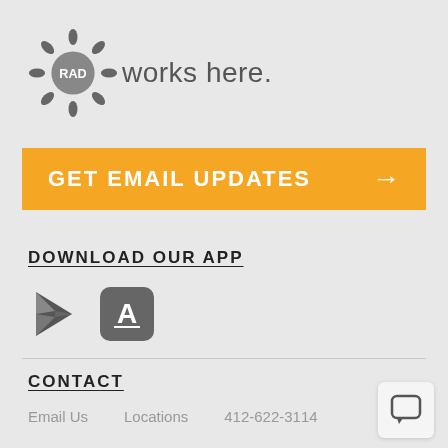[Figure (logo): RAD sun logo with text 'RAD works here.']
GET EMAIL UPDATES →
DOWNLOAD OUR APP
[Figure (illustration): Google Play Store icon (play triangle) and Apple App Store icon (compass/A)]
CONTACT
Email Us   Locations   412-622-3114
[Figure (illustration): Chat bubble icon button]